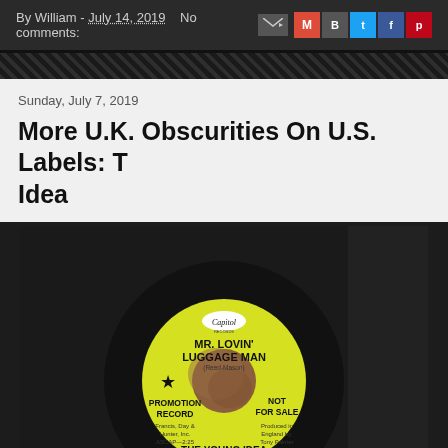By William - July 14, 2019  No comments:
Sunday, July 7, 2019
More U.K. Obscurities On U.S. Labels: The Young Idea
[Figure (photo): Capitol Records promo vinyl 45rpm single label showing 'Mr. Lovin' Luggage Man' by The Young Idea. Yellow label with black text. Shows PROMOTION RECORD, NOT FOR SALE, Francis Day & Hunter Inc. ASCAP-2:25, Produced in England by Tony Palmer. The Young Idea printed at bottom.]